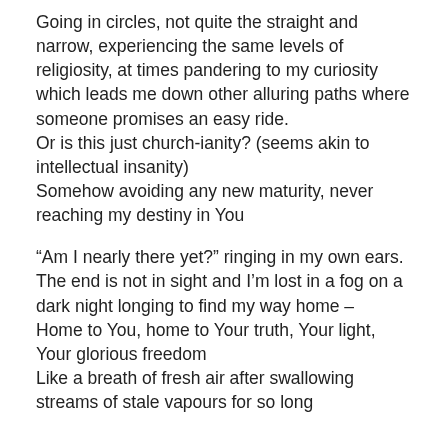Going in circles, not quite the straight and narrow, experiencing the same levels of religiosity, at times pandering to my curiosity which leads me down other alluring paths where someone promises an easy ride. Or is this just church-ianity? (seems akin to intellectual insanity) Somehow avoiding any new maturity, never reaching my destiny in You
“Am I nearly there yet?” ringing in my own ears. The end is not in sight and I’m lost in a fog on a dark night longing to find my way home – Home to You, home to Your truth, Your light, Your glorious freedom Like a breath of fresh air after swallowing streams of stale vapours for so long